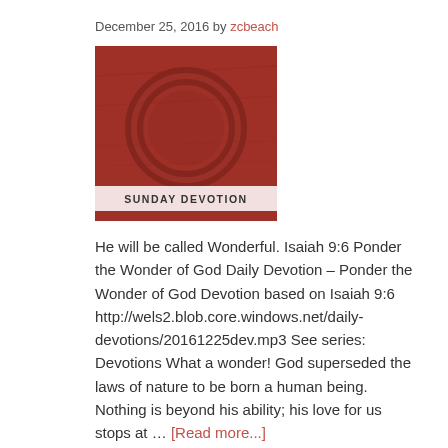December 25, 2016 by zcbeach
[Figure (photo): Red fabric background with a circular ring shape and a white banner reading 'SUNDAY DEVOTION']
He will be called Wonderful. Isaiah 9:6 Ponder the Wonder of God Daily Devotion – Ponder the Wonder of God Devotion based on Isaiah 9:6 http://wels2.blob.core.windows.net/daily-devotions/20161225dev.mp3 See series: Devotions What a wonder! God superseded the laws of nature to be born a human being. Nothing is beyond his ability; his love for us stops at … [Read more...]
Posted in: Uncategorized
Peace and Joy Trusting Jesus